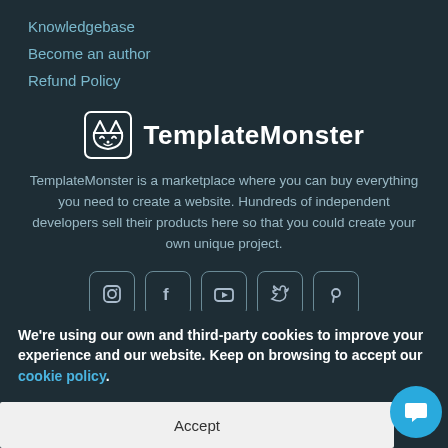Knowledgebase
Become an author
Refund Policy
[Figure (logo): TemplateMonster logo with cat icon and bold text]
TemplateMonster is a marketplace where you can buy everything you need to create a website. Hundreds of independent developers sell their products here so that you could create your own unique project.
[Figure (other): Row of five social media icons: Instagram, Facebook, YouTube, Twitter, Pinterest]
© 2023 TemplateMonster.com owned by nerve Technologies LLC. Operated by IQAnnex Inc. All rights reserved.
We're using our own and third-party cookies to improve your experience and our website. Keep on browsing to accept our cookie policy.
Accept